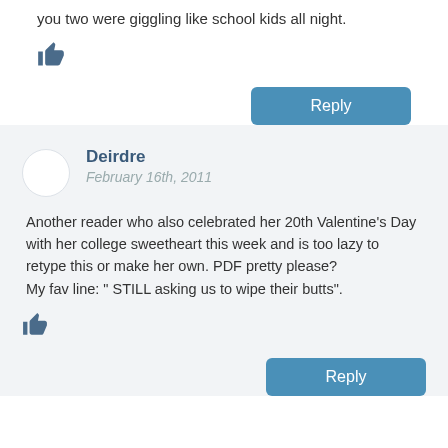you two were giggling like school kids all night.
👍
Reply
Deirdre
February 16th, 2011
Another reader who also celebrated her 20th Valentine's Day with her college sweetheart this week and is too lazy to retype this or make her own. PDF pretty please?
My fav line: " STILL asking us to wipe their butts".
👍
Reply